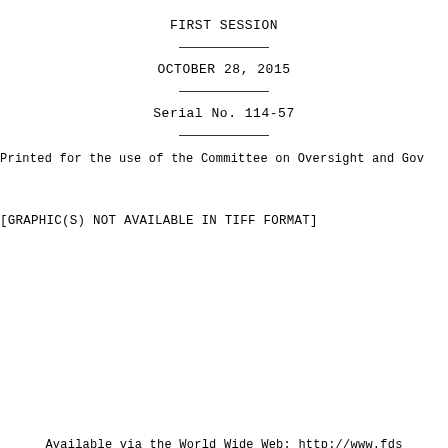FIRST SESSION
OCTOBER 28, 2015
Serial No. 114-57
Printed for the use of the Committee on Oversight and Gov
[GRAPHIC(S) NOT AVAILABLE IN TIFF FORMAT]
Available via the World Wide Web: http://www.fds